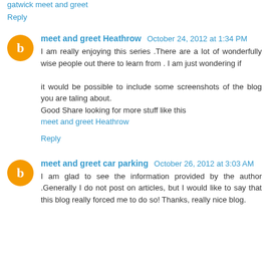gatwick meet and greet
Reply
meet and greet Heathrow  October 24, 2012 at 1:34 PM
I am really enjoying this series .There are a lot of wonderfully wise people out there to learn from . I am just wondering if

it would be possible to include some screenshots of the blog you are taling about.
Good Share looking for more stuff like this
meet and greet Heathrow
Reply
meet and greet car parking  October 26, 2012 at 3:03 AM
I am glad to see the information provided by the author .Generally I do not post on articles, but I would like to say that this blog really forced me to do so! Thanks, really nice blog.